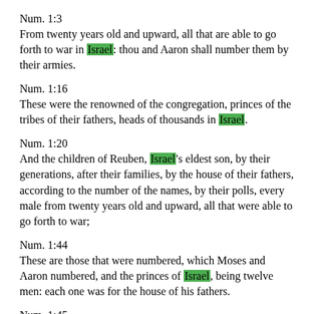Num. 1:3
From twenty years old and upward, all that are able to go forth to war in Israel: thou and Aaron shall number them by their armies.
Num. 1:16
These were the renowned of the congregation, princes of the tribes of their fathers, heads of thousands in Israel.
Num. 1:20
And the children of Reuben, Israel's eldest son, by their generations, after their families, by the house of their fathers, according to the number of the names, by their polls, every male from twenty years old and upward, all that were able to go forth to war;
Num. 1:44
These are those that were numbered, which Moses and Aaron numbered, and the princes of Israel, being twelve men: each one was for the house of his fathers.
Num. 1:45
So were all those that were numbered of the children of